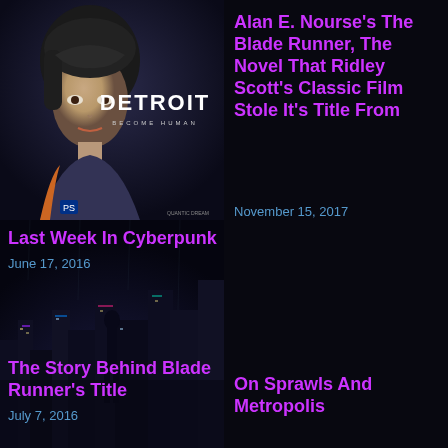[Figure (screenshot): Detroit: Become Human game cover showing a female android character with short hair, text 'DETROIT BECOME HUMAN' overlaid on dark cyberpunk background]
Last Week In Cyberpunk
June 17, 2016
[Figure (screenshot): Dark cyberpunk city scene with a figure standing in a neon-lit urban environment]
Alan E. Nourse's The Blade Runner, The Novel That Ridley Scott's Classic Film Stole It's Title From
November 15, 2017
The Story Behind Blade Runner's Title
July 7, 2016
On Sprawls And Metropolis